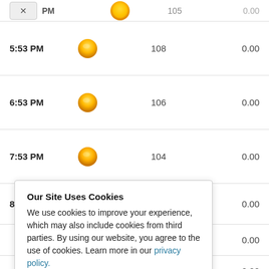| Time | Condition | Temp | Precip |
| --- | --- | --- | --- |
| 5:53 PM | (sunny) | 108 | 0.00 |
| 6:53 PM | (sunny) | 106 | 0.00 |
| 7:53 PM | (sunny) | 104 | 0.00 |
| 8:53 PM | (cloudy) | 102 | 0.00 |
|  |  |  | 0.00 |
|  |  |  | 0.00 |
|  |  |  | 0.00 |
Our Site Uses Cookies
We use cookies to improve your experience, which may also include cookies from third parties. By using our website, you agree to the use of cookies. Learn more in our privacy policy.